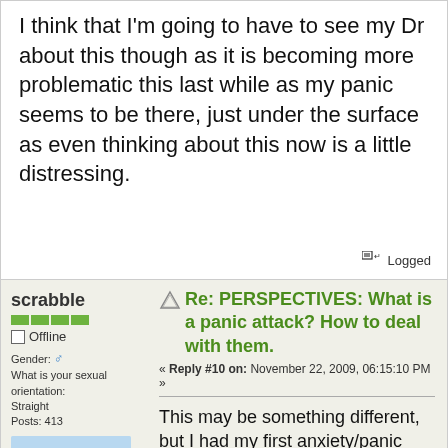I think that I'm going to have to see my Dr about this though as it is becoming more problematic this last while as my panic seems to be there, just under the surface as even thinking about this now is a little distressing.
Logged
scrabble
Offline
Gender: male
What is your sexual orientation: Straight
Posts: 413
Re: PERSPECTIVES: What is a panic attack? How to deal with them.
« Reply #10 on: November 22, 2009, 06:15:10 PM »
This may be something different, but I had my first anxiety/panic attack giving a brief presentation in a meeting of about 25 people a